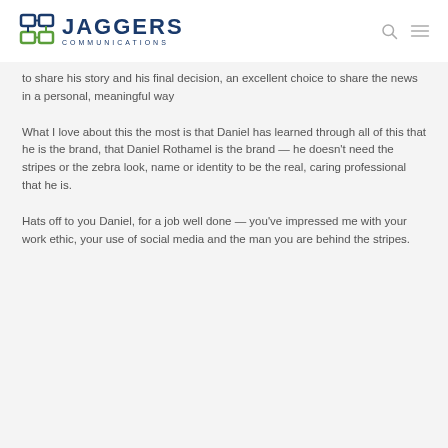JAGGERS COMMUNICATIONS
to share his story and his final decision, an excellent choice to share the news in a personal, meaningful way
What I love about this the most is that Daniel has learned through all of this that he is the brand, that Daniel Rothamel is the brand — he doesn't need the stripes or the zebra look, name or identity to be the real, caring professional that he is.
Hats off to you Daniel, for a job well done — you've impressed me with your work ethic, your use of social media and the man you are behind the stripes.